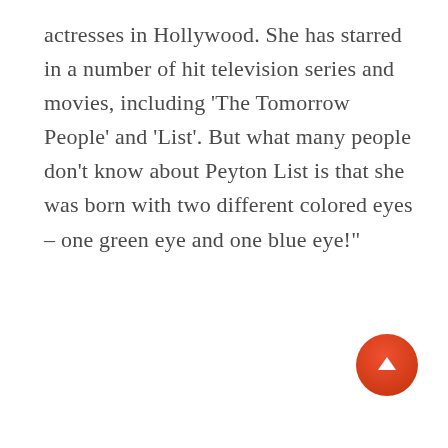actresses in Hollywood. She has starred in a number of hit television series and movies, including 'The Tomorrow People' and 'List'. But what many people don't know about Peyton List is that she was born with two different colored eyes – one green eye and one blue eye!"